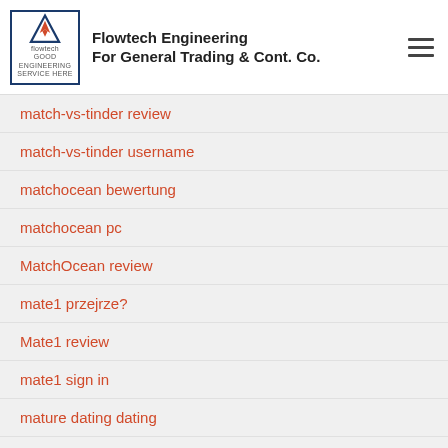Flowtech Engineering For General Trading & Cont. Co.
Massachusetts payday loans
match reviews
match-vs-tinder review
match-vs-tinder username
matchocean bewertung
matchocean pc
MatchOcean review
mate1 przejrze?
Mate1 review
mate1 sign in
mature dating dating
mature quality singles connexion
maximum title loans